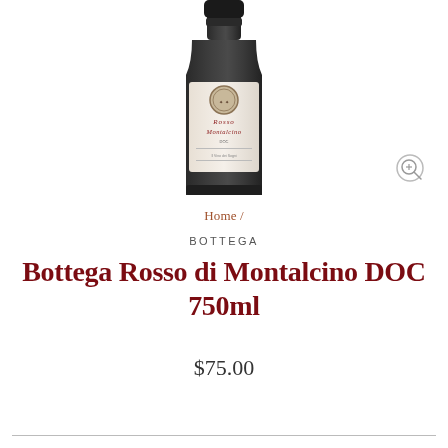[Figure (photo): Dark wine bottle of Bottega Rosso di Montalcino, partially visible from bottom half, showing label with ornate medallion seal, red text reading Rosso Montalcino on white label. Magnifying glass / zoom icon in upper right of image area.]
Home /
BOTTEGA
Bottega Rosso di Montalcino DOC 750ml
$75.00